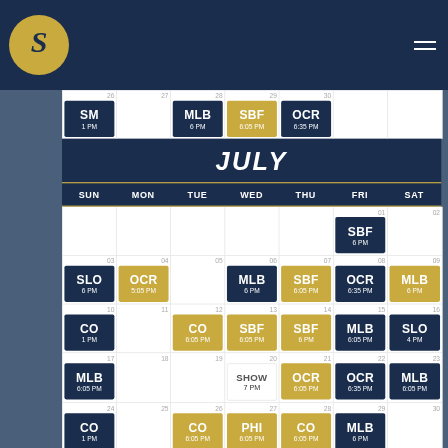Savannah Bananas schedule header with logo
| SUN | MON | TUE | WED | THU | FRI | SAT |
| --- | --- | --- | --- | --- | --- | --- |
| 26 SM 1 PM | 27 | 28 MLB 6 PM | 29 SBF 6:05 PM | 30 OCR 6:35 PM |  |  |
| JULY |  |  |  |  |  |  |
|  |  |  |  |  | 01 SBF 6 PM | 02 |
| 03 SLO 6 PM | 04 OCR 5:05 PM | 05 | 06 MLB 6 PM | 07 SBF 6:05 PM | 08 OCR 6:35 PM | 09 MLB 6 PM |
| 10 CO 1 PM | 11 | 12 CO 6:05 PM | 13 SBF 6:05 PM | 14 SBF 6 PM | 15 MLB 6:05 PM | 16 SLO 4 PM |
| 17 MLB 6:05 PM | 18 | 19 | 20 SHOW 7 PM | 21 OCR 6:05 PM | 22 OCR 6:35 PM | 23 MLB 6:05 PM |
| 24 CO 1 PM | 25 | 26 CO 6:05 PM | 27 PHI 6:05 PM | 28 CO 6:05 PM | 29 MLB 6 PM | 30 |